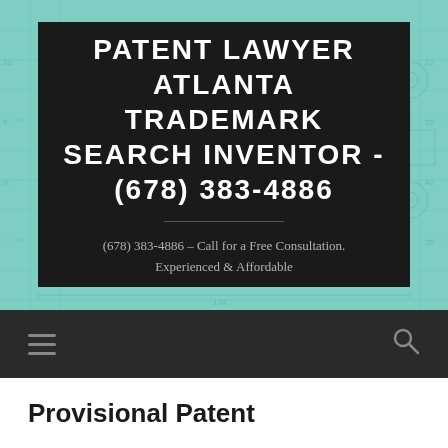[Figure (screenshot): Website header banner with teal/mint background showing a blueprint engineering diagram, overlaid with a dark black box containing the site title and contact information.]
PATENT LAWYER ATLANTA TRADEMARK SEARCH INVENTOR - (678) 383-4886
(678) 383-4886 - Call for a Free Consultation. Experienced & Affordable
Provisional Patent
The